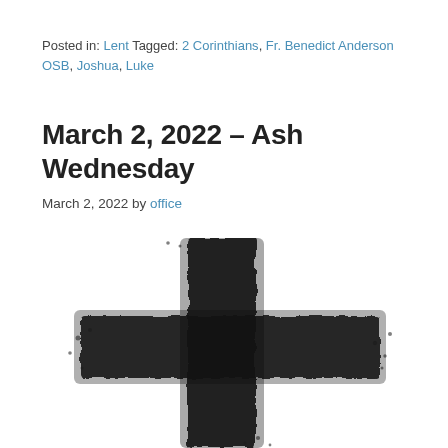Posted in: Lent Tagged: 2 Corinthians, Fr. Benedict Anderson OSB, Joshua, Luke
March 2, 2022 – Ash Wednesday
March 2, 2022 by office
[Figure (illustration): A rough, textured ash cross rendered in black brush strokes on a white background, representing Ash Wednesday.]